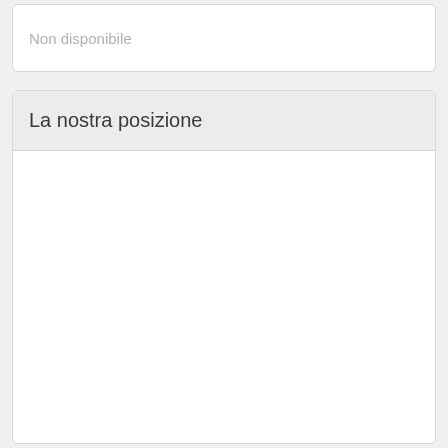Non disponibile
La nostra posizione